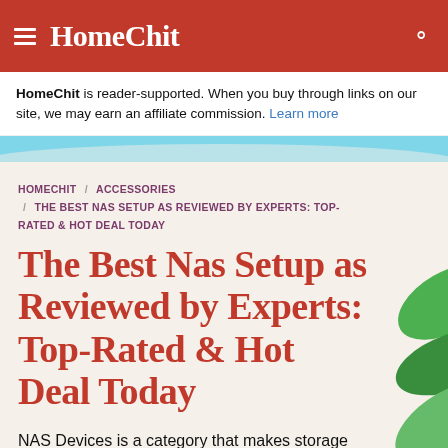HomeChit
HomeChit is reader-supported. When you buy through links on our site, we may earn an affiliate commission. Learn more
HOMECHIT / ACCESSORIES / THE BEST NAS SETUP AS REVIEWED BY EXPERTS: TOP-RATED & HOT DEAL TODAY
The Best Nas Setup as Reviewed by Experts: Top-Rated & Hot Deal Today
NAS Devices is a category that makes storage devices and storage management easy and